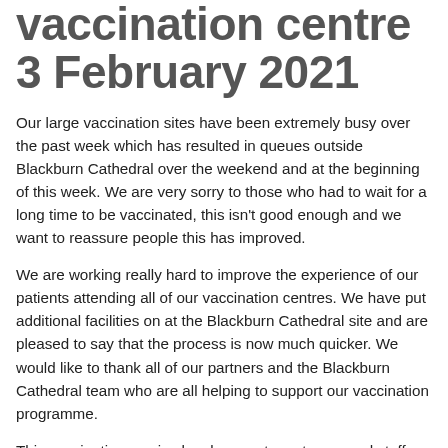vaccination centre 3 February 2021
Our large vaccination sites have been extremely busy over the past week which has resulted in queues outside Blackburn Cathedral over the weekend and at the beginning of this week. We are very sorry to those who had to wait for a long time to be vaccinated, this isn't good enough and we want to reassure people this has improved.
We are working really hard to improve the experience of our patients attending all of our vaccination centres. We have put additional facilities on at the Blackburn Cathedral site and are pleased to say that the process is now much quicker. We would like to thank all of our partners and the Blackburn Cathedral team who are all helping to support our vaccination programme.
This vaccination service has been set up at pace and staff are working exceptionally hard to